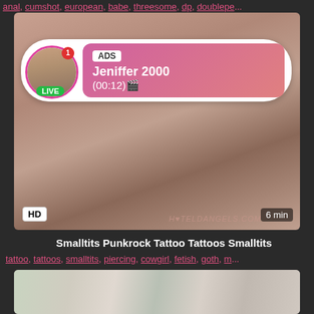anal, cumshot, european, babe, threesome, dp, doublepe...
[Figure (screenshot): Adult video thumbnail with HD badge, 6 min duration, watermark HOTELDANGELS.COM, and overlay ad for Jeniffer 2000 (00:12) LIVE]
Smalltits Punkrock Tattoo Tattoos Smalltits
tattoo, tattoos, smalltits, piercing, cowgirl, fetish, goth, m...
[Figure (screenshot): Adult video thumbnail showing indoor scene with people]